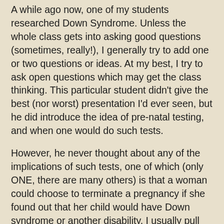A while ago now, one of my students researched Down Syndrome. Unless the whole class gets into asking good questions (sometimes, really!), I generally try to add one or two questions or ideas. At my best, I try to ask open questions which may get the class thinking. This particular student didn't give the best (nor worst) presentation I'd ever seen, but he did introduce the idea of pre-natal testing, and when one would do such tests.
However, he never thought about any of the implications of such tests, one of which (only ONE, there are many others) is that a woman could choose to terminate a pregnancy if she found out that her child would have Down syndrome or another disability. I usually pull away from questions related to abortion in my classes. To be honest, I don't want to hear that abortion should be illegal no matter what, and I don't think most of my students want to hear what I have to say. I'm tired of trite approaches to a complex question.
But, this time I asked about the ethical implications of a decision to have testing done, and perhaps to choose to terminate a pregnancy based on such tests. My students